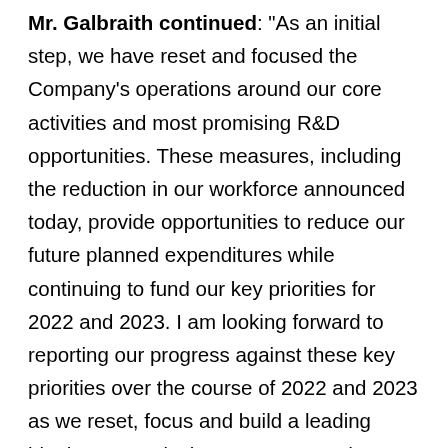Mr. Galbraith continued: "As an initial step, we have reset and focused the Company's operations around our core activities and most promising R&D opportunities. These measures, including the reduction in our workforce announced today, provide opportunities to reduce our future planned expenditures while continuing to fund our key priorities for 2022 and 2023. I am looking forward to reporting our progress against these key priorities over the course of 2022 and 2023 as we reset, focus and build a leading biopharmaceutical company around a renewed organization, and an exciting and expanding pipeline of product candidates with the potential to make a significant difference for patients around the world with difficult-to-treat cancers."